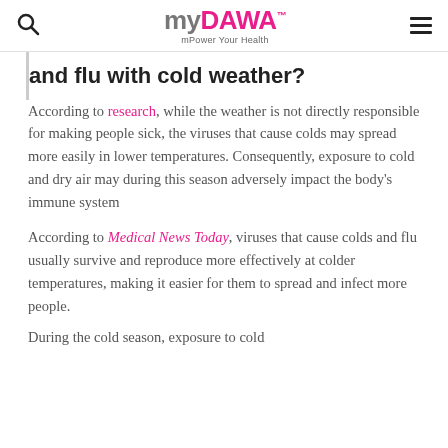myDAWA — mPower Your Health
and flu with cold weather?
According to research, while the weather is not directly responsible for making people sick, the viruses that cause colds may spread more easily in lower temperatures. Consequently, exposure to cold and dry air may during this season adversely impact the body's immune system
According to Medical News Today, viruses that cause colds and flu usually survive and reproduce more effectively at colder temperatures, making it easier for them to spread and infect more people.
During the cold season, exposure to cold...